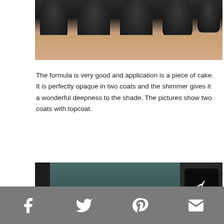[Figure (photo): Close-up photo of hand with dark/black shimmer nail polish applied on fingernails, viewed from above]
The formula is very good and application is a piece of cake. It is perfectly opaque in two coats and the shimmer gives it a wonderful deepness to the shade. The pictures show two coats with topcoat.
[Figure (photo): Close-up photo of four fingers with dark black shimmer nail polish and a nail polish bottle visible at top, with a share icon overlay in top right corner]
[Figure (infographic): Social sharing bar at bottom with Facebook, Twitter, Pinterest, and email icons on grey background]